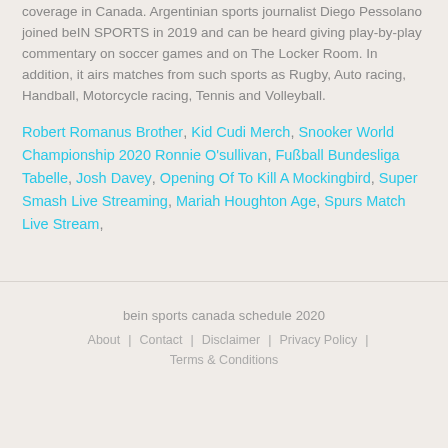coverage in Canada. Argentinian sports journalist Diego Pessolano joined beIN SPORTS in 2019 and can be heard giving play-by-play commentary on soccer games and on The Locker Room. In addition, it airs matches from such sports as Rugby, Auto racing, Handball, Motorcycle racing, Tennis and Volleyball.
Robert Romanus Brother, Kid Cudi Merch, Snooker World Championship 2020 Ronnie O'sullivan, Fußball Bundesliga Tabelle, Josh Davey, Opening Of To Kill A Mockingbird, Super Smash Live Streaming, Mariah Houghton Age, Spurs Match Live Stream,
bein sports canada schedule 2020
About | Contact | Disclaimer | Privacy Policy | Terms & Conditions